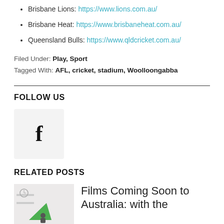Brisbane Lions: https://www.lions.com.au/
Brisbane Heat: https://www.brisbaneheat.com.au/
Queensland Bulls: https://www.qldcricket.com.au/
Filed Under: Play, Sport
Tagged With: AFL, cricket, stadium, Woolloongabba
FOLLOW US
[Figure (logo): Facebook logo icon in a light grey square box]
RELATED POSTS
[Figure (photo): Thumbnail image for related post showing a room interior with a green shape and person silhouette]
Films Coming Soon to Australia: with the